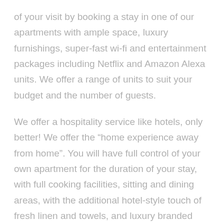of your visit by booking a stay in one of our apartments with ample space, luxury furnishings, super-fast wi-fi and entertainment packages including Netflix and Amazon Alexa units. We offer a range of units to suit your budget and the number of guests.
We offer a hospitality service like hotels, only better! We offer the “home experience away from home”. You will have full control of your own apartment for the duration of your stay, with full cooking facilities, sitting and dining areas, with the additional hotel-style touch of fresh linen and towels, and luxury branded bath products.